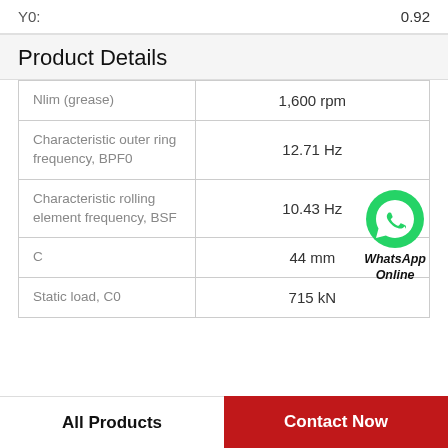Y0: 0.92
Product Details
| Property | Value |
| --- | --- |
| Nlim (grease) | 1,600 rpm |
| Characteristic outer ring frequency, BPF0 | 12.71 Hz |
| Characteristic rolling element frequency, BSF | 10.43 Hz |
| C | 44 mm |
| Static load, C0 | 715 kN |
[Figure (logo): WhatsApp Online green phone logo with italic bold text 'WhatsApp Online']
All Products | Contact Now